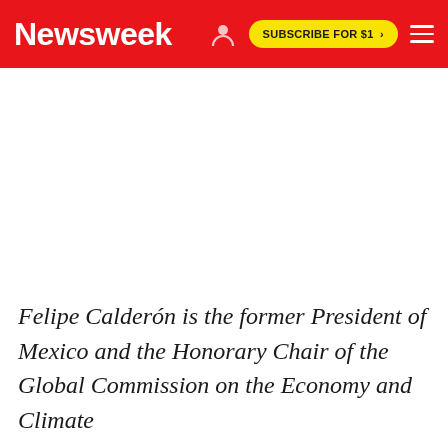Newsweek | SUBSCRIBE FOR $1 >
Felipe Calderón is the former President of Mexico and the Honorary Chair of the Global Commission on the Economy and Climate